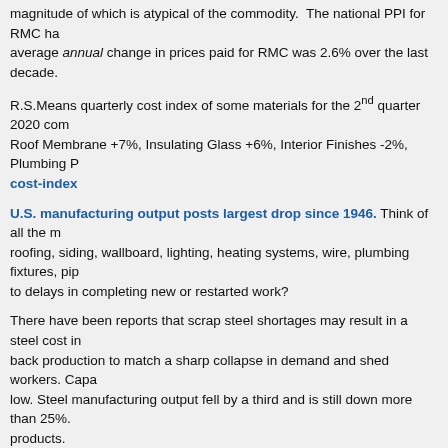magnitude of which is atypical of the commodity. The national PPI for RMC ha... average annual change in prices paid for RMC was 2.6% over the last decade.
R.S.Means quarterly cost index of some materials for the 2nd quarter 2020 com... Roof Membrane +7%, Insulating Glass +6%, Interior Finishes -2%, Plumbing P... cost-index
U.S. manufacturing output posts largest drop since 1946. Think of all the m... roofing, siding, wallboard, lighting, heating systems, wire, plumbing fixtures, pip... to delays in completing new or restarted work?
There have been reports that scrap steel shortages may result in a steel cost in... back production to match a sharp collapse in demand and shed workers. Capa... low. Steel manufacturing output fell by a third and is still down more than 25%... products.
Since Q1, the cost of lumber has increase 120%, so expect residential inflation... price-now-14000-higher-due-to-lumber/ and revised http://nahbnow.com/20...
Contractors have been saying they have difficulty acquiring the skilled labor the...
But most important, this SMACNA report quantifies that labor productivity... https://www.constructiondive.com/news/study-finds-covid-19-protocols-le...
Labor is about 35% of project cost. Therefore, just this productivity loss e... protocols is only half that, the added inflationary cost to projects is 3% above n... quarterly releases.